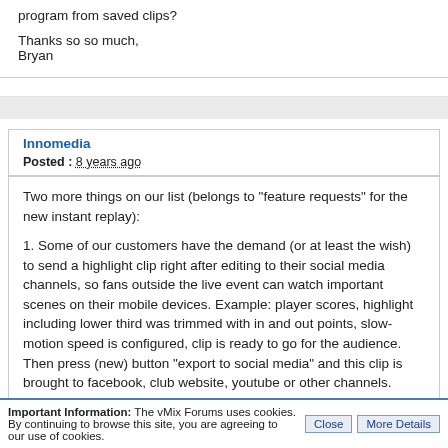program from saved clips?
Thanks so so much,
Bryan
Innomedia
Posted : 8 years ago
Two more things on our list (belongs to "feature requests" for the new instant replay):
1. Some of our customers have the demand (or at least the wish) to send a highlight clip right after editing to their social media channels, so fans outside the live event can watch important scenes on their mobile devices. Example: player scores, highlight including lower third was trimmed with in and out points, slow-motion speed is configured, clip is ready to go for the audience. Then press (new) button "export to social media" and this clip is brought to facebook, club website, youtube or other channels. Export target can be defined in settings, it might be best to have more than one target servers for parallel transmission to several channels. It would be awesome to have a multi-angle clip or 4 single clips from different angles
Important Information: The vMix Forums uses cookies. By continuing to browse this site, you are agreeing to our use of cookies.